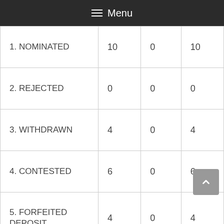≡ Menu
| 1. NOMINATED | 10 | 0 | 10 |
| 2. REJECTED | 0 | 0 | 0 |
| 3. WITHDRAWN | 4 | 0 | 4 |
| 4. CONTESTED | 6 | 0 | 6 |
| 5. FORFEITED DEPOSIT | 4 | 0 | 4 |
|  |  |  |  |